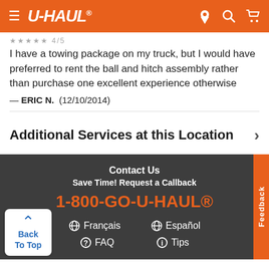U-HAUL
I have a towing package on my truck, but I would have preferred to rent the ball and hitch assembly rather than purchase one excellent experience otherwise
— ERIC N.  (12/10/2014)
Additional Services at this Location
Contact Us
Save Time! Request a Callback
1-800-GO-U-HAUL®
Français  Español
FAQ  Tips
Back To Top
Feedback